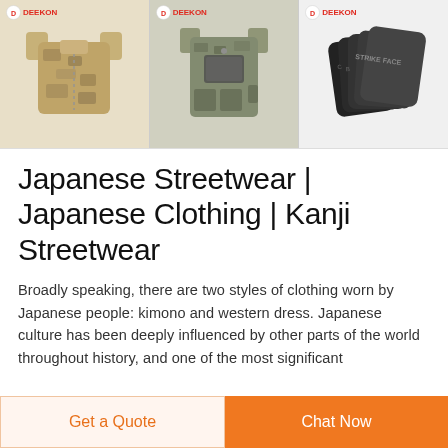[Figure (photo): Three product images of tactical/military gear from DEEKON brand: left shows a desert camo full tactical vest, center shows an ACU camo tactical vest with front pouches, right shows stacked black armor/strike face plates.]
Japanese Streetwear | Japanese Clothing | Kanji Streetwear
Broadly speaking, there are two styles of clothing worn by Japanese people: kimono and western dress. Japanese culture has been deeply influenced by other parts of the world throughout history, and one of the most significant
Get a Quote
Chat Now